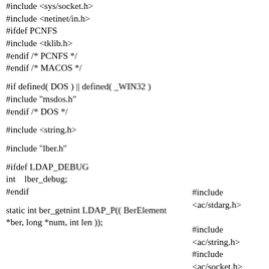#include <sys/socket.h>
#include <netinet/in.h>
#ifdef PCNFS
#include <tklib.h>
#endif /* PCNFS */
#endif /* MACOS */
#if defined( DOS ) || defined( _WIN32 )
#include "msdos.h"
#endif /* DOS */
#include <string.h>
#include "lber.h"
#ifdef LDAP_DEBUG
int    lber_debug;
#endif
static int ber_getnint LDAP_P(( BerElement *ber, long *num, int len ));
#include <ac/stdarg.h>

#include <ac/string.h>
#include <ac/socket.h>

#include "lber-int.h"